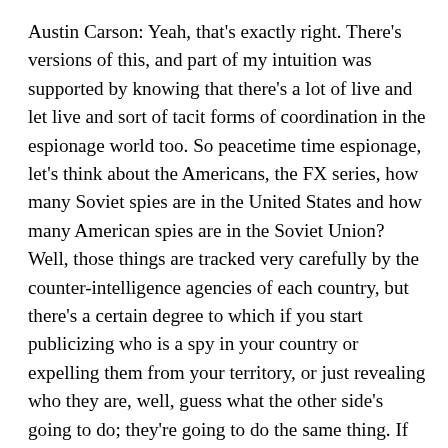Austin Carson: Yeah, that's exactly right. There's versions of this, and part of my intuition was supported by knowing that there's a lot of live and let live and sort of tacit forms of coordination in the espionage world too. So peacetime time espionage, let's think about the Americans, the FX series, how many Soviet spies are in the United States and how many American spies are in the Soviet Union? Well, those things are tracked very carefully by the counter-intelligence agencies of each country, but there's a certain degree to which if you start publicizing who is a spy in your country or expelling them from your territory, or just revealing who they are, well, guess what the other side's going to do; they're going to do the same thing. If you're basically gouging each other's eyes out, so to speak, so that what the other country is doing isn't